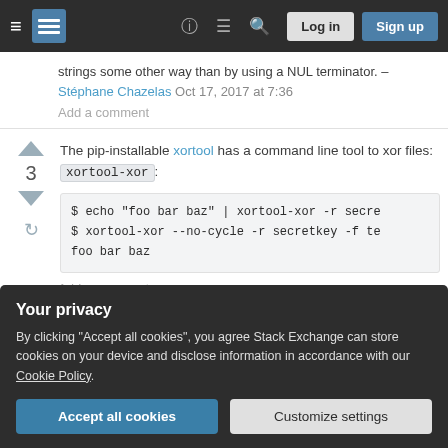Stack Exchange navigation bar with hamburger menu, logo, icons, Log in and Sign up buttons
strings some other way than by using a NUL terminator. – Stéphane Chazelas Oct 17, 2017 at 7:36
Add a comment
The pip-installable xortool has a command line tool to xor files: xortool-xor:
$ echo "foo bar baz" | xortool-xor -r secre
$ xortool-xor --no-cycle -r secretkey -f te
foo bar baz
Your privacy
By clicking "Accept all cookies", you agree Stack Exchange can store cookies on your device and disclose information in accordance with our Cookie Policy.
Accept all cookies
Customize settings
Add a comment